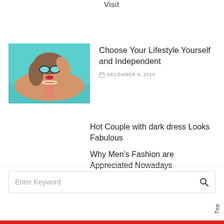Visit
[Figure (photo): Woman in sunglasses and swimsuit lying by a pool]
Choose Your Lifestyle Yourself and Independent
DECEMBER 8, 2019
Hot Couple with dark dress Looks Fabulous
Why Men’s Fashion are Appreciated Nowadays
Enter Keyword
Top